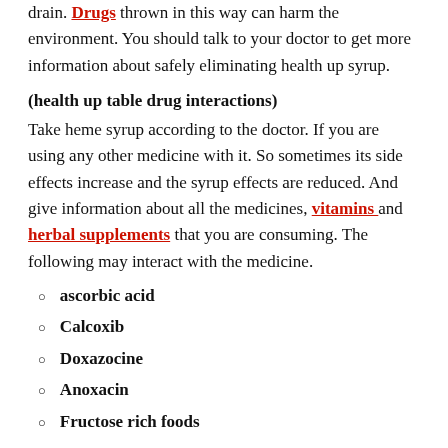drain. Drugs thrown in this way can harm the environment. You should talk to your doctor to get more information about safely eliminating health up syrup.
(health up table drug interactions)
Take heme syrup according to the doctor. If you are using any other medicine with it. So sometimes its side effects increase and the syrup effects are reduced. And give information about all the medicines, vitamins and herbal supplements that you are consuming. The following may interact with the medicine.
ascorbic acid
Calcoxib
Doxazocine
Anoxacin
Fructose rich foods